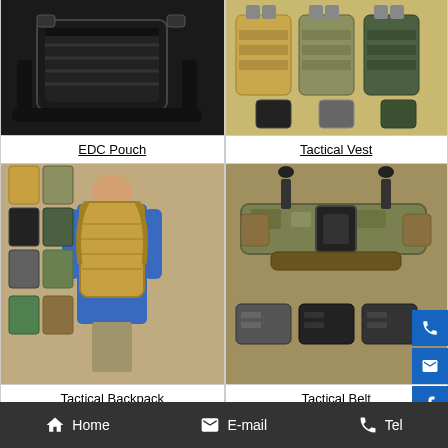[Figure (photo): Black EDC pouch with MOLLE webbing and shoulder strap on white background]
EDC Pouch
[Figure (photo): Multiple tactical vests in various colors: tan, camouflage, black, and green]
Tactical Vest
[Figure (photo): Multiple tactical backpacks in various colors with a man wearing a tan backpack]
Tactical Backpack
[Figure (photo): Camouflage tactical belt with buckle and pouches in various colors]
Tactical Belt
Home   E-mail   Tel